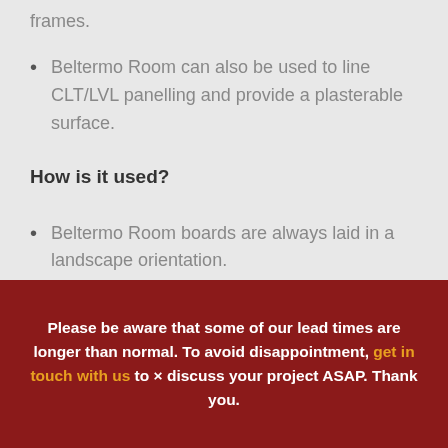frames.
Beltermo Room can also be used to line CLT/LVL panelling and provide a plasterable surface.
How is it used?
Beltermo Room boards are always laid in a landscape orientation.
As internal solid wall insulation Beltermo
Please be aware that some of our lead times are longer than normal. To avoid disappointment, get in touch with us to discuss your project ASAP. Thank you.